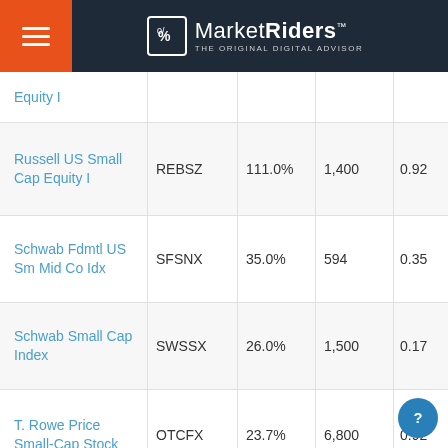MarketRiders - The Original Digital Advisor
| Fund Name | Ticker | Return | Holdings | Expense |
| --- | --- | --- | --- | --- |
| Equity I |  |  |  |  |
| Russell US Small Cap Equity I | REBSZ | 111.0% | 1,400 | 0.92 |
| Schwab Fdmtl US Sm Mid Co Idx | SFSNX | 35.0% | 594 | 0.35 |
| Schwab Small Cap Index | SWSSX | 26.0% | 1,500 | 0.17 |
| T. Rowe Price Small-Cap Stock | OTCFX | 23.7% | 6,800 | 0.92 |
| T. R... | PRSNX | 5.5% | 7,000 | 0.05 |